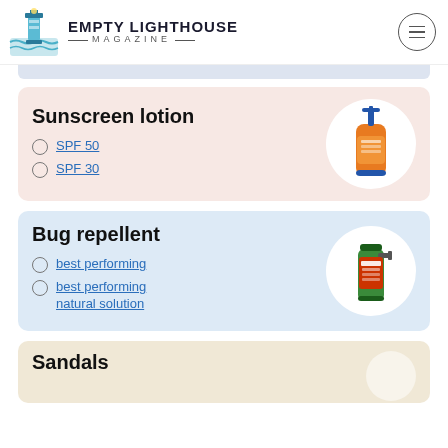EMPTY LIGHTHOUSE MAGAZINE
Sunscreen lotion
SPF 50
SPF 30
[Figure (photo): Orange sunscreen lotion bottle with pump dispenser]
Bug repellent
best performing
best performing natural solution
[Figure (photo): Green Repel bug spray bottle]
Sandals